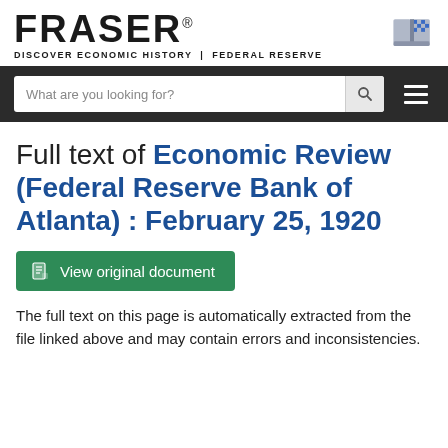[Figure (logo): FRASER logo with book icon and tagline 'DISCOVER ECONOMIC HISTORY | FEDERAL RESERVE']
What are you looking for?
Full text of Economic Review (Federal Reserve Bank of Atlanta) : February 25, 1920
View original document
The full text on this page is automatically extracted from the file linked above and may contain errors and inconsistencies.